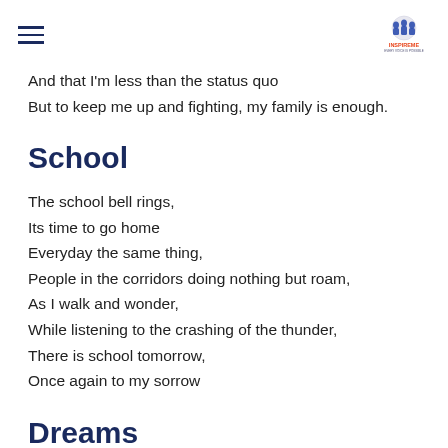[hamburger menu icon] [InspireMe logo]
And that I'm less than the status quo
But to keep me up and fighting, my family is enough.
School
The school bell rings,
Its time to go home
Everyday the same thing,
People in the corridors doing nothing but roam,
As I walk and wonder,
While listening to the crashing of the thunder,
There is school tomorrow,
Once again to my sorrow
Dreams